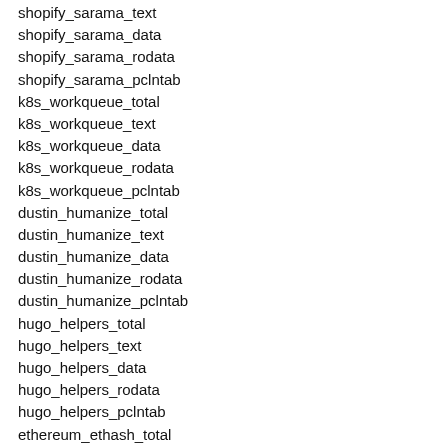shopify_sarama_text
shopify_sarama_data
shopify_sarama_rodata
shopify_sarama_pclntab
k8s_workqueue_total
k8s_workqueue_text
k8s_workqueue_data
k8s_workqueue_rodata
k8s_workqueue_pclntab
dustin_humanize_total
dustin_humanize_text
dustin_humanize_data
dustin_humanize_rodata
dustin_humanize_pclntab
hugo_helpers_total
hugo_helpers_text
hugo_helpers_data
hugo_helpers_rodata
hugo_helpers_pclntab
ethereum_ethash_total
ethereum_ethash_text
ethereum_ethash_data
ethereum_ethash_rodata